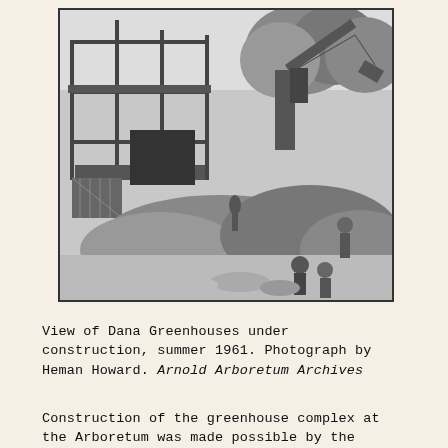[Figure (photo): Black and white photograph of Dana Greenhouses under construction in summer 1961. Shows steel frame structure being built on the left, a construction crane/excavator on the right, mounds of dirt, and workers visible in the foreground and middle ground.]
View of Dana Greenhouses under construction, summer 1961. Photograph by Heman Howard. Arnold Arboretum Archives
Construction of the greenhouse complex at the Arboretum was made possible by the Mercer Trust